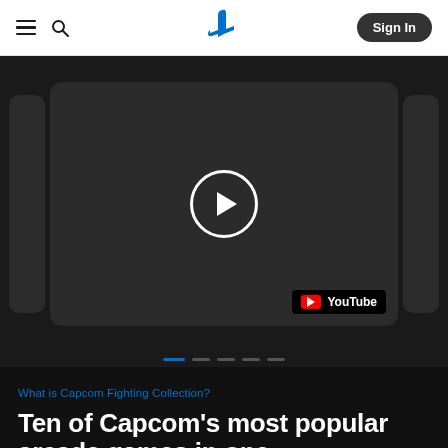PlayStation website navigation bar with hamburger menu, search icon, PlayStation logo, and Sign In button
[Figure (screenshot): YouTube video player embed showing a dark video thumbnail with a circular play button (white circle with white triangle) and a YouTube badge in the bottom-right corner, displayed in a carousel with side panels]
What is Capcom Fighting Collection?
Ten of Capcom's most popular arcade games in one